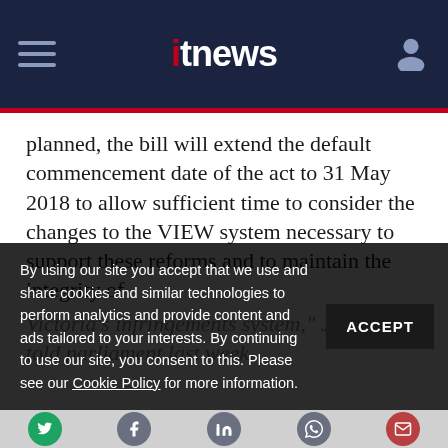itnews
planned, the bill will extend the default commencement date of the act to 31 May 2018 to allow sufficient time to consider the changes to the VIEW system necessary to support these reforms and to maintain the integrity of Victoria’s infringements system," Jennings told parliament last week.
By using our site you accept that we use and share cookies and similar technologies to perform analytics and provide content and ads tailored to your interests. By continuing to use our site, you consent to this. Please see our Cookie Policy for more information.